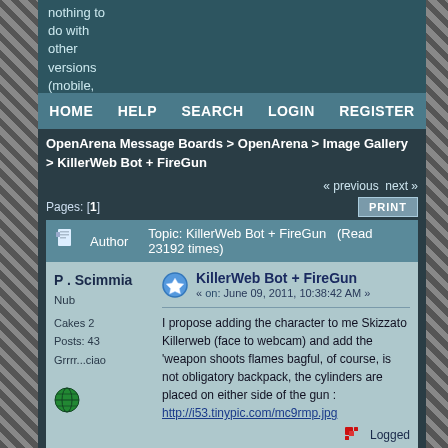nothing to do with other versions (mobile, etc).
HOME  HELP  SEARCH  LOGIN  REGISTER
OpenArena Message Boards > OpenArena > Image Gallery > KillerWeb Bot + FireGun
« previous next »
Pages: [1]  PRINT
Author  Topic: KillerWeb Bot + FireGun  (Read 23192 times)
P . Scimmia
Nub
Cakes 2
Posts: 43
Grrrr...ciao
KillerWeb Bot + FireGun
« on: June 09, 2011, 10:38:42 AM »
I propose adding the character to me Skizzato Killerweb (face to webcam) and add the 'weapon shoots flames bagful, of course, is not obligatory backpack, the cylinders are placed on either side of the gun : http://i53.tinypic.com/mc9rmp.jpg
Logged